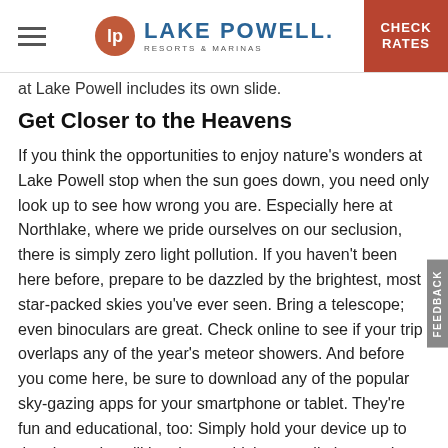Lake Powell Resorts & Marinas | CHECK RATES
at Lake Powell includes its own slide.
Get Closer to the Heavens
If you think the opportunities to enjoy nature's wonders at Lake Powell stop when the sun goes down, you need only look up to see how wrong you are. Especially here at Northlake, where we pride ourselves on our seclusion, there is simply zero light pollution. If you haven't been here before, prepare to be dazzled by the brightest, most star-packed skies you've ever seen. Bring a telescope; even binoculars are great. Check online to see if your trip overlaps any of the year's meteor showers. And before you come here, be sure to download any of the popular sky-gazing apps for your smartphone or tablet. They're fun and educational, too: Simply hold your device up to the sky, and you'll be shown which constellations and planets are where.
Pack activities for imperfect weather
Sometimes, especially in spring and late fall, it can get rainy or